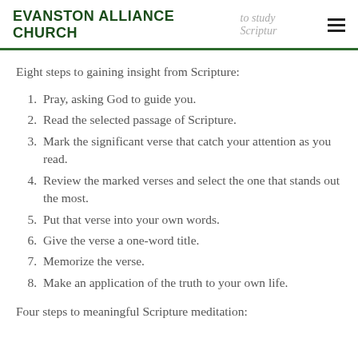EVANSTON ALLIANCE CHURCH
Eight steps to gaining insight from Scripture:
1. Pray, asking God to guide you.
2. Read the selected passage of Scripture.
3. Mark the significant verse that catch your attention as you read.
4. Review the marked verses and select the one that stands out the most.
5. Put that verse into your own words.
6. Give the verse a one-word title.
7. Memorize the verse.
8. Make an application of the truth to your own life.
Four steps to meaningful Scripture meditation: